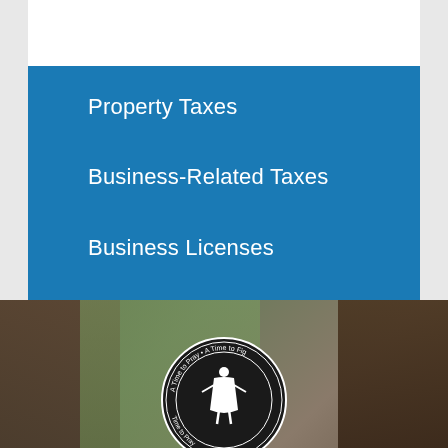Property Taxes
Business-Related Taxes
Business Licenses
Other Fees & Charges
[Figure (photo): Outdoor nature photo with tree bark in foreground and a government/civic seal medallion centered at bottom showing text 'A Time to Pray • A Time to Fig...' with a figure illustration]